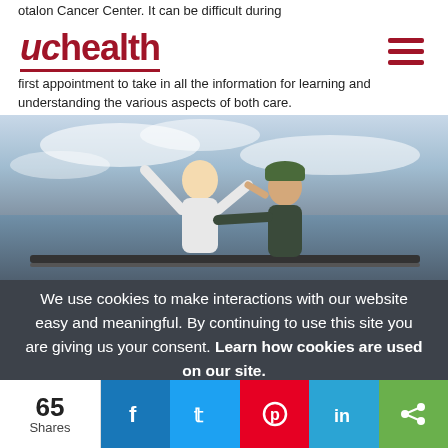uchealth
otalon Cancer Center. It can be difficult during first appointment to take in all the information for learning and understanding the various aspects of both care...
[Figure (photo): Two people on a boat, one with arms raised, smiling against an ocean/cloudy sky background]
We use cookies to make interactions with our website easy and meaningful. By continuing to use this site you are giving us your consent. Learn how cookies are used on our site.
Accept terms
65 Shares